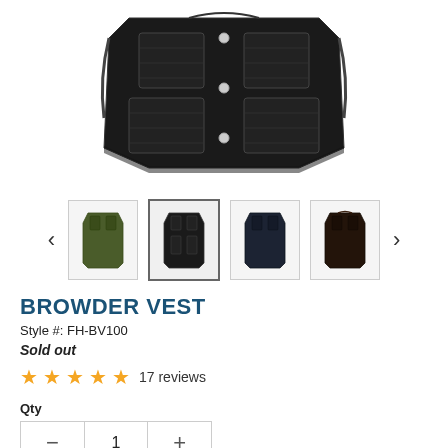[Figure (photo): Main product photo of a black quilted vest (Browder Vest) shown from the front, folded/laid flat against white background]
[Figure (photo): Thumbnail carousel showing four vest color variants: olive/green, black (selected, outlined), dark navy, and dark brown/black. Left and right navigation arrows on either side.]
BROWDER VEST
Style #: FH-BV100
Sold out
★★★★★ 17 reviews
Qty
- 1 +